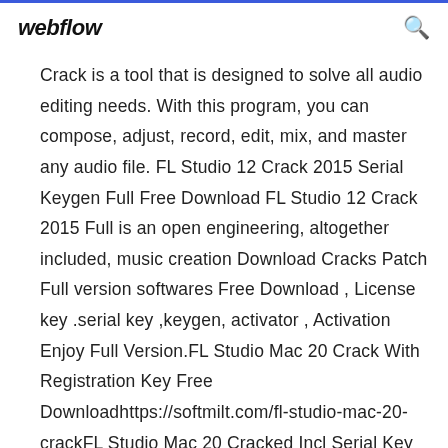webflow [search icon]
Crack is a tool that is designed to solve all audio editing needs. With this program, you can compose, adjust, record, edit, mix, and master any audio file. FL Studio 12 Crack 2015 Serial Keygen Full Free Download FL Studio 12 Crack 2015 Full is an open engineering, altogether included, music creation Download Cracks Patch Full version softwares Free Download , License key .serial key ,keygen, activator , Activation Enjoy Full Version.FL Studio Mac 20 Crack With Registration Key Free Downloadhttps://softmilt.com/fl-studio-mac-20-crackFL Studio Mac 20 Cracked Incl Serial Key With Latest Version FL Studio Mac 20 Crack best software free MIDI...